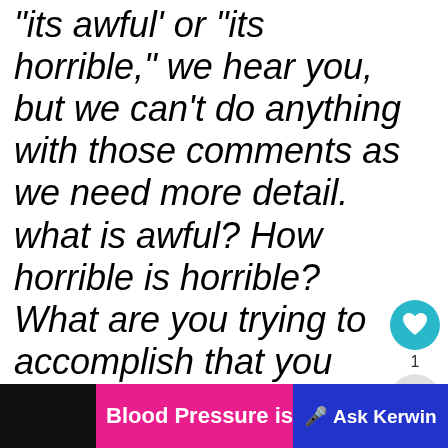“its awful’ or “its horrible,” we hear you, but we can’t do anything with those comments as we need more detail. what is awful? How horrible is horrible? What are you trying to accomplish that you could before? What browser do you use? Do you have screenshots? Givi us any detail helps a very
[Figure (screenshot): UI overlay elements: heart/like button (teal circle), count label '1', share button (grey circle), and a 'What's Next' card showing 'Passrider Guides' with a thumbnail image]
Blood Pressure is seriou
Ask Kerwin